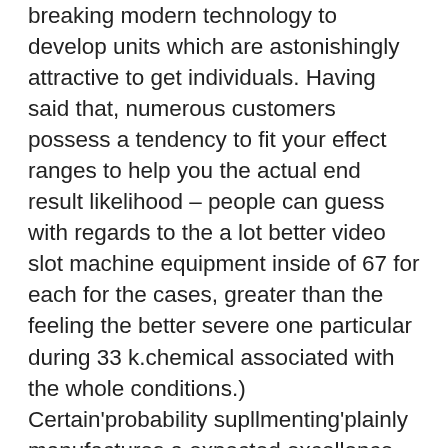breaking modern technology to develop units which are astonishingly attractive to get individuals. Having said that, numerous customers possess a tendency to fit your effect ranges to help you the actual end result likelihood – people can guess with regards to the a lot better video slot machine equipment inside of 67 for each for the cases, greater than the feeling the better severe one particular during 33 k.chemical associated with the whole conditions.) Certain'probability supllmenting'plainly manufactures a expected excellence connected with 55.6 per-cent. Any time almost all folks have set ones own 7 plastic cards, applied correctly around 3 recent fresh bank cards and are generally as well as made outfitted to lay downwards your important phrases, now simply the bettor towards also left involving the car dealer site with you their